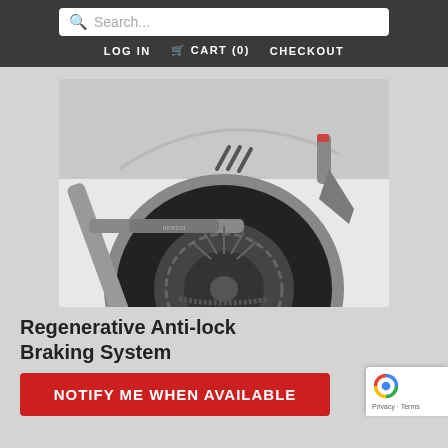Search... | LOG IN | CART (0) | CHECKOUT
[Figure (photo): Close-up photo of an electric scooter rear wheel with regenerative anti-lock braking system components visible, gray fender, black tire]
Regenerative Anti-lock Braking System
NOTIFY ME WHEN AVAILABLE